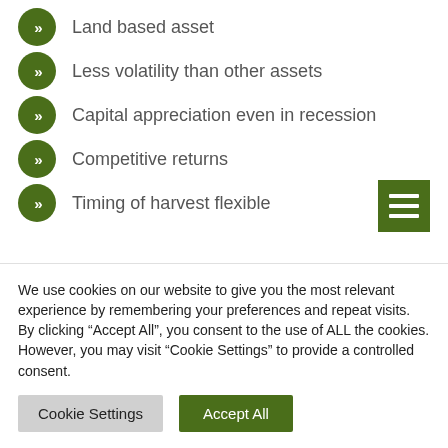Land based asset
Less volatility than other assets
Capital appreciation even in recession
Competitive returns
Timing of harvest flexible
Forestry investment is recognised worldwide as having low volatility in comparison with other asset classes as is
We use cookies on our website to give you the most relevant experience by remembering your preferences and repeat visits. By clicking “Accept All”, you consent to the use of ALL the cookies. However, you may visit “Cookie Settings” to provide a controlled consent.